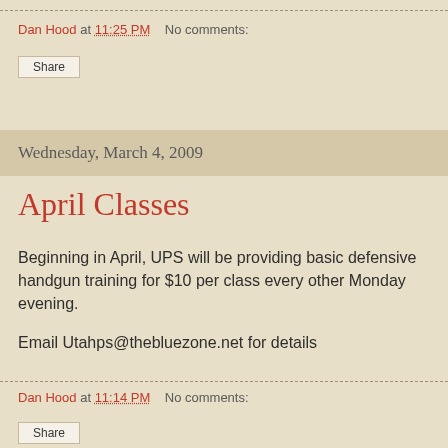Dan Hood at 11:25 PM   No comments:
Share
Wednesday, March 4, 2009
April Classes
Beginning in April, UPS will be providing basic defensive handgun training for $10 per class every other Monday evening.
Email Utahps@thebluezone.net for details
Dan Hood at 11:14 PM   No comments:
Share